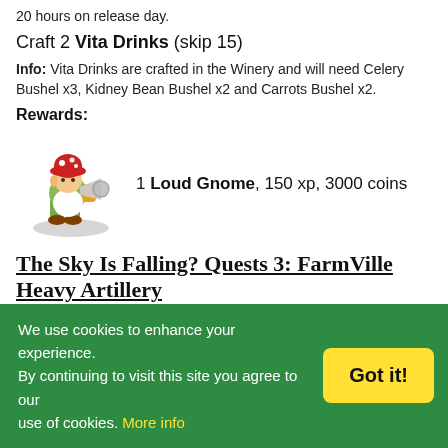20 hours on release day.
Craft 2 Vita Drinks (skip 15)
Info: Vita Drinks are crafted in the Winery and will need Celery Bushel x3, Kidney Bean Bushel x2 and Carrots Bushel x2.
Rewards:
[Figure (illustration): Cartoon gnome character wearing a red mushroom hat, holding a megaphone, with a yellow backpack, standing on a grey oval shadow]
1 Loud Gnome, 150 xp, 3000 coins
The Sky Is Falling? Quests 3: FarmVille Heavy Artillery
Mission:
[Figure (illustration): Cartoon cannon on wheels, brown/gold colored, pointing to the right]
We use cookies to enhance your experience. By continuing to visit this site you agree to our use of cookies. More info